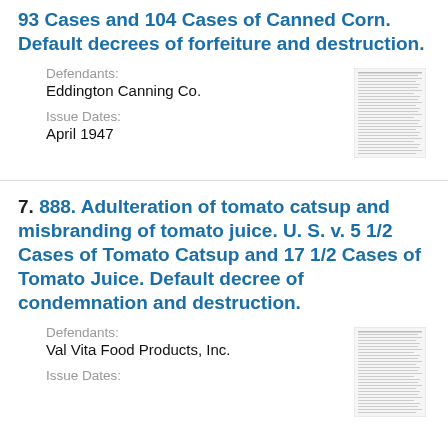93 Cases and 104 Cases of Canned Corn. Default decrees of forfeiture and destruction.
Defendants: Eddington Canning Co.
Issue Dates: April 1947
[Figure (other): Thumbnail image of a legal document page with dense text, small print.]
7. 888. Adulteration of tomato catsup and misbranding of tomato juice. U. S. v. 5 1/2 Cases of Tomato Catsup and 17 1/2 Cases of Tomato Juice. Default decree of condemnation and destruction.
Defendants: Val Vita Food Products, Inc.
Issue Dates:
[Figure (other): Thumbnail image of a legal document page with dense text, small print.]